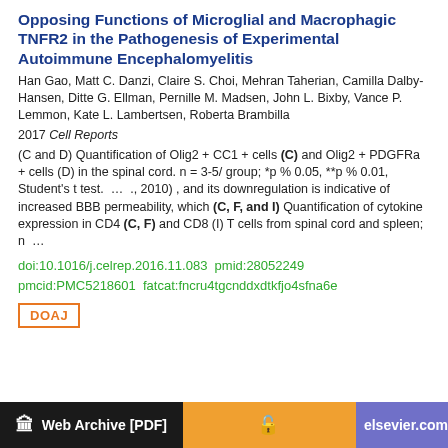Opposing Functions of Microglial and Macrophagic TNFR2 in the Pathogenesis of Experimental Autoimmune Encephalomyelitis
Han Gao, Matt C. Danzi, Claire S. Choi, Mehran Taherian, Camilla Dalby-Hansen, Ditte G. Ellman, Pernille M. Madsen, John L. Bixby, Vance P. Lemmon, Kate L. Lambertsen, Roberta Brambilla
2017 Cell Reports
(C and D) Quantification of Olig2 + CC1 + cells (C) and Olig2 + PDGFRa + cells (D) in the spinal cord. n = 3-5/ group; *p % 0.05, **p % 0.01, Student's t test.  ...  ., 2010) , and its downregulation is indicative of increased BBB permeability, which (C, F, and I) Quantification of cytokine expression in CD4 (C, F) and CD8 (I) T cells from spinal cord and spleen; n  ...
doi:10.1016/j.celrep.2016.11.083  pmid:28052249
pmcid:PMC5218601  fatcat:fncru4tgcnddxdtkfjo4sfna6e
DOAJ
Web Archive [PDF]
elsevier.com